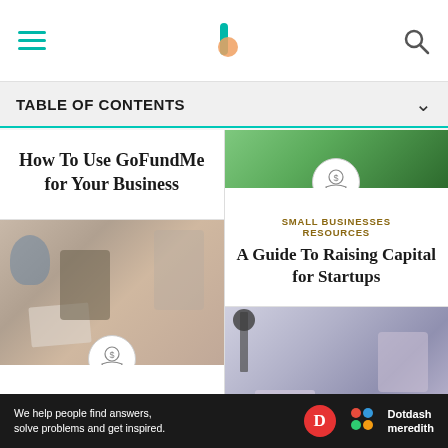TABLE OF CONTENTS
How To Use GoFundMe for Your Business
[Figure (photo): Person looking stressed holding papers at a desk with others in background]
FILE YOUR OWN TAXES
When Do You Have to
[Figure (photo): Partial image of raised hands or foliage at top]
SMALL BUSINESSES RESOURCES
A Guide To Raising Capital for Startups
[Figure (photo): Two people at a table with camera/studio lighting equipment in background]
SMALL BUSINESSES RESOURCES
We help people find answers, solve problems and get inspired. Dotdash meredith